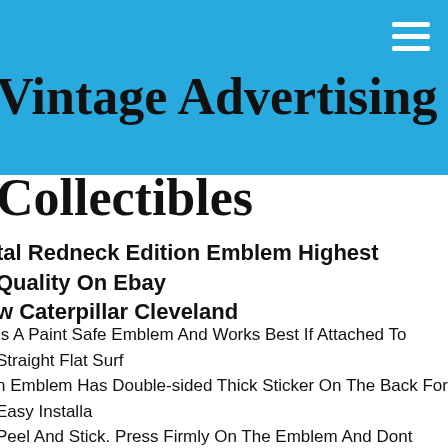Vintage Advertising Collectibles
tal Redneck Edition Emblem Highest Quality On Ebay w Caterpillar Cleveland
Is A Paint Safe Emblem And Works Best If Attached To Straight Flat Surf n Emblem Has Double-sided Thick Sticker On The Back For Easy Installa Peel And Stick. Press Firmly On The Emblem And Dont Wash Vehicle Fo 24 Hrs.
tal Redneck Edition Emblem Highest Quality On Ebay evrolet Trunk Lid Door
Is A Paint Safe Emblem And Works Best If Attached To Straight Flat Surf n Emblem Has Double-sided Thick Sticker On The Back For Easy Installa Peel And Stick. Press Firmly On The Emblem And Dont Wash Vehicle Fo